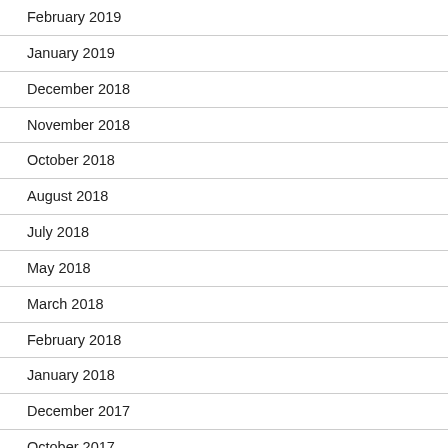February 2019
January 2019
December 2018
November 2018
October 2018
August 2018
July 2018
May 2018
March 2018
February 2018
January 2018
December 2017
October 2017